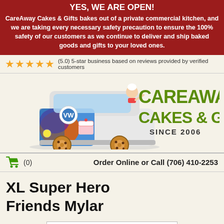YES, WE ARE OPEN!
CareAway Cakes & Gifts bakes out of a private commercial kitchen, and we are taking every necessary safety precaution to ensure the 100% safety of our customers as we continue to deliver and ship baked goods and gifts to your loved ones.
★★★★★ (5.0) 5-star business based on reviews provided by verified customers
[Figure (logo): CareAway Cakes & Gifts logo with illustrated VW bus van and baker character, with text 'CAREAWAY CAKES & GIFTS SINCE 2006']
(0)  Order Online or Call (706) 410-2253
XL Super Hero Friends Mylar
click on photo to see a larger version